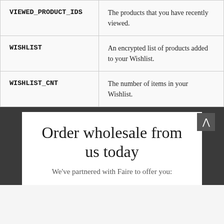| Cookie Name | Description |
| --- | --- |
| VIEWED_PRODUCT_IDS | The products that you have recently viewed. |
| WISHLIST | An encrypted list of products added to your Wishlist. |
| WISHLIST_CNT | The number of items in your Wishlist. |
Order wholesale from us today
We've partnered with Faire to offer you: